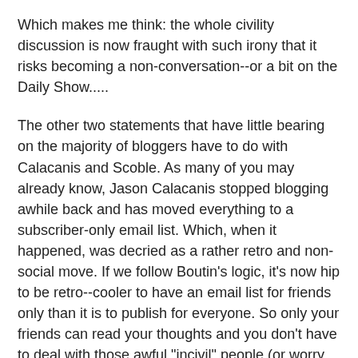Which makes me think: the whole civility discussion is now fraught with such irony that it risks becoming a non-conversation--or a bit on the Daily Show.....
The other two statements that have little bearing on the majority of bloggers have to do with Calacanis and Scoble. As many of you may already know, Jason Calacanis stopped blogging awhile back and has moved everything to a subscriber-only email list. Which, when it happened, was decried as a rather retro and non-social move. If we follow Boutin's logic, it's now hip to be retro--cooler to have an email list for friends only than it is to publish for everyone. So only your friends can read your thoughts and you don't have to deal with those awful "incivil" people (or worry about Valleywag misquoting you...)
When invoking Scoble, Boutin admonishes us to "get a clue" and just microblog, post videos, etc. What Boutin doesn't acknowledge about videos is that many of the comments on videos, esp. those on YouTube, are rife with troll-like comments, not to mention that most comments are never